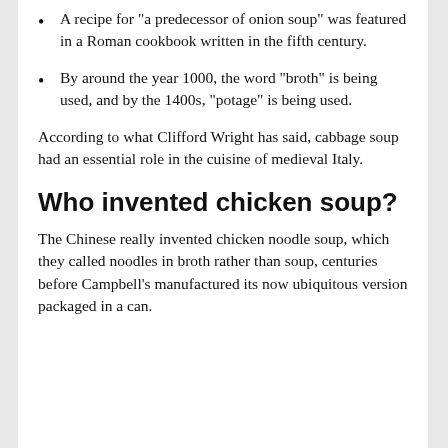A recipe for "a predecessor of onion soup" was featured in a Roman cookbook written in the fifth century.
By around the year 1000, the word "broth" is being used, and by the 1400s, "potage" is being used.
According to what Clifford Wright has said, cabbage soup had an essential role in the cuisine of medieval Italy.
Who invented chicken soup?
The Chinese really invented chicken noodle soup, which they called noodles in broth rather than soup, centuries before Campbell's manufactured its now ubiquitous version packaged in a can.